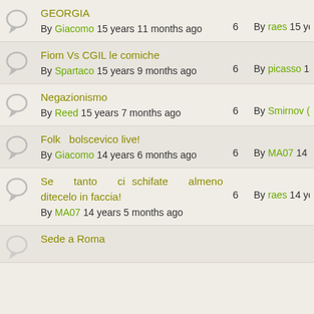GEORGIA
By Giacomo 15 years 11 months ago
6
By raes 15 years 11 mo
Fiom Vs CGIL le comiche
By Spartaco 15 years 9 months ago
6
By picasso 14 years 10
Negazionismo
By Reed 15 years 7 months ago
6
By Smirnov (editor) 15
Folk bolscevico live!
By Giacomo 14 years 6 months ago
6
By MA07 14 years 5 mo
Se tanto ci schifate almeno ditecelo in faccia!
By MA07 14 years 5 months ago
6
By raes 14 years 5 mor
Sede a Roma